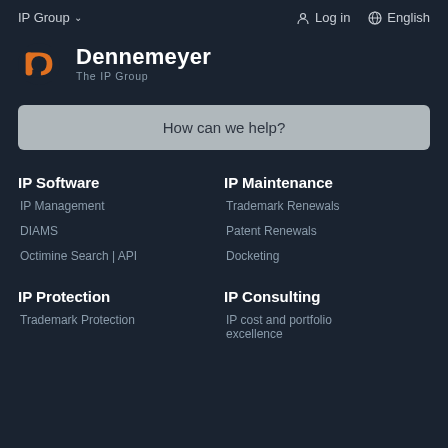IP Group ∨   Log in   English
[Figure (logo): Dennemeyer The IP Group logo — orange 'd' icon with white text 'Dennemeyer' and subtitle 'The IP Group']
How can we help?
IP Software
IP Management
DIAMS
Octimine Search | API
IP Maintenance
Trademark Renewals
Patent Renewals
Docketing
IP Protection
Trademark Protection
IP Consulting
IP cost and portfolio excellence